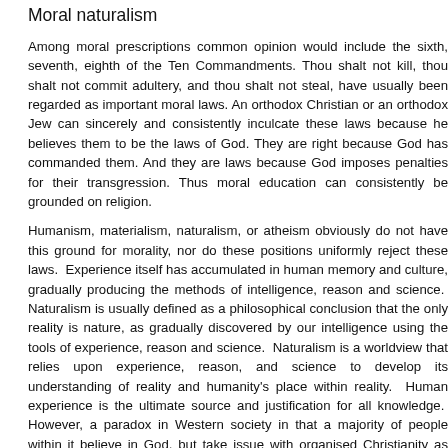Moral naturalism
Among moral prescriptions common opinion would include the sixth, seventh, eighth of the Ten Commandments. Thou shalt not kill, thou shalt not commit adultery, and thou shalt not steal, have usually been regarded as important moral laws. An orthodox Christian or an orthodox Jew can sincerely and consistently inculcate these laws because he believes them to be the laws of God. They are right because God has commanded them. And they are laws because God imposes penalties for their transgression. Thus moral education can consistently be grounded on religion.
Humanism, materialism, naturalism, or atheism obviously do not have this ground for morality, nor do these positions uniformly reject these laws. Experience itself has accumulated in human memory and culture, gradually producing the methods of intelligence, reason and science. Naturalism is usually defined as the philosophical conclusion that the only reality is nature, as gradually discovered by our intelligence using the tools of experience, reason and science. Naturalism is a worldview that relies upon experience, reason, and science to develop its understanding of reality and humanity's place within reality. Human experience is the ultimate source and justification for all knowledge. However, a paradox exists in Western society in that a majority of people within it believe in God, but take issue with organised Christianity as expressed in the churches. They are convinced of the superiority of the scientific method for addressing practical questions of health and affluence in the public forum, but fall back on Christianity as a traditional way of making ethical decisions in the private sphere.